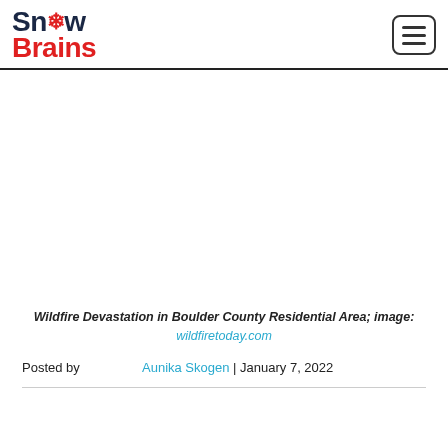Snow Brains
[Figure (photo): Blank/white image area representing Wildfire Devastation in Boulder County Residential Area]
Wildfire Devastation in Boulder County Residential Area; image: wildfiretoday.com
Posted by   Aunika Skogen | January 7, 2022